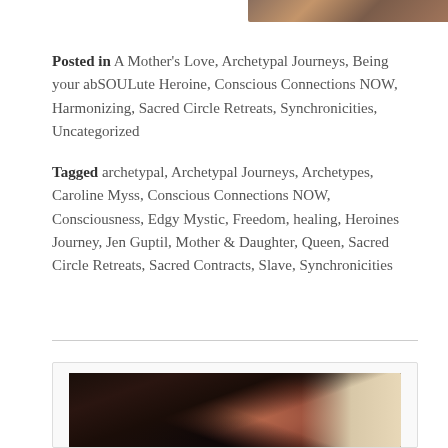[Figure (photo): Partial view of a photo at the top right corner, showing a person with warm-toned colors]
Posted in A Mother's Love, Archetypal Journeys, Being your abSOULute Heroine, Conscious Connections NOW, Harmonizing, Sacred Circle Retreats, Synchronicities, Uncategorized
Tagged archetypal, Archetypal Journeys, Archetypes, Caroline Myss, Conscious Connections NOW, Consciousness, Edgy Mystic, Freedom, healing, Heroines Journey, Jen Guptil, Mother & Daughter, Queen, Sacred Circle Retreats, Sacred Contracts, Slave, Synchronicities
[Figure (photo): Photo of a person with dark hair, taken from inside a car, showing the back/side of head with braided hair]